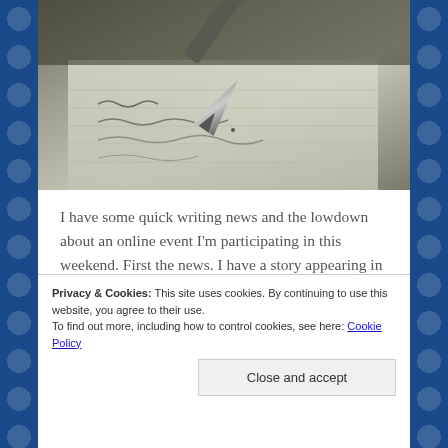[Figure (photo): Close-up photo of a fountain pen writing cursive text on lined paper, shot at a shallow depth of field with blurred background.]
I have some quick writing news and the lowdown about an online event I'm participating in this weekend. First the news. I have a story appearing in the upcoming issue of The Sirens Call eZine - Issue 28 Terrifying Tales. I'm especially fond of
Privacy & Cookies: This site uses cookies. By continuing to use this website, you agree to their use.
To find out more, including how to control cookies, see here: Cookie Policy
Close and accept